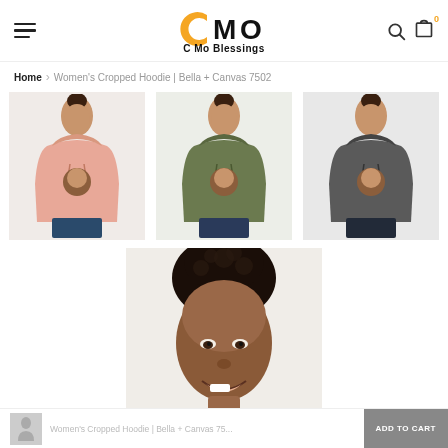C Mo Blessings — navigation header with hamburger menu, logo, search and cart icons
Home > Women's Cropped Hoodie | Bella + Canvas 7502
[Figure (photo): Three women's cropped hoodies shown on a model — salmon/peach, olive green, and charcoal grey — with a graphic print on the front]
[Figure (photo): Close-up of a woman's face smiling, wearing a women's cropped hoodie product]
Women's Cropped Hoodie | Bella + Canvas 75... ADD TO CART